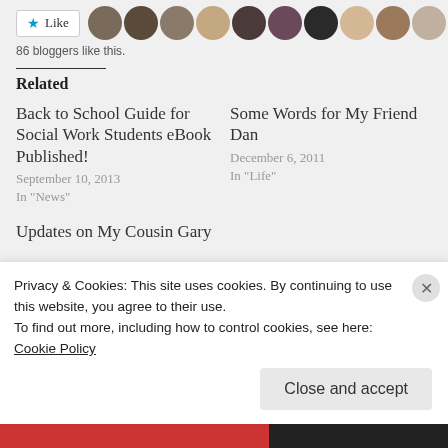[Figure (other): Like button with star icon and row of 10 blogger avatar photos, with text '86 bloggers like this.']
86 bloggers like this.
Related
Back to School Guide for Social Work Students eBook Published!
September 10, 2013
In "News"
Some Words for My Friend Dan
December 6, 2011
In "Life"
Updates on My Cousin Gary
Privacy & Cookies: This site uses cookies. By continuing to use this website, you agree to their use.
To find out more, including how to control cookies, see here: Cookie Policy
Close and accept